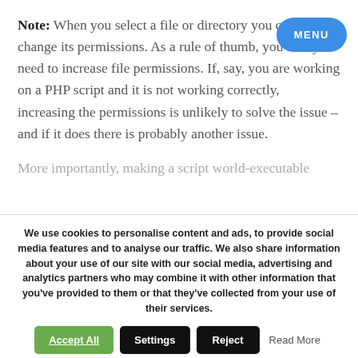Note: When you select a file or directory you can also change its permissions. As a rule of thumb, you rarely need to increase file permissions. If, say, you are working on a PHP script and it is not working correctly, increasing the permissions is unlikely to solve the issue – and if it does there is probably another issue.
More importantly, making a script world-executable
We use cookies to personalise content and ads, to provide social media features and to analyse our traffic. We also share information about your use of our site with our social media, advertising and analytics partners who may combine it with other information that you've provided to them or that they've collected from your use of their services.